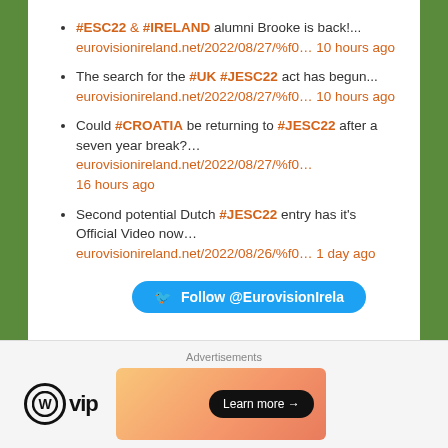#ESC22 & #IRELAND alumni Brooke is back!... eurovisionireland.net/2022/08/27/%f0... 10 hours ago
The search for the #UK #JESC22 act has begun... eurovisionireland.net/2022/08/27/%f0... 10 hours ago
Could #CROATIA be returning to #JESC22 after a seven year break?... eurovisionireland.net/2022/08/27/%f0... 16 hours ago
Second potential Dutch #JESC22 entry has it's Official Video now... eurovisionireland.net/2022/08/26/%f0... 1 day ago
[Figure (screenshot): Twitter Follow button: Follow @EurovisionIrela]
OUR COMMUNITY
[Figure (screenshot): Advertisement bar with WordPress VIP logo and a gradient orange/pink banner with Learn more button]